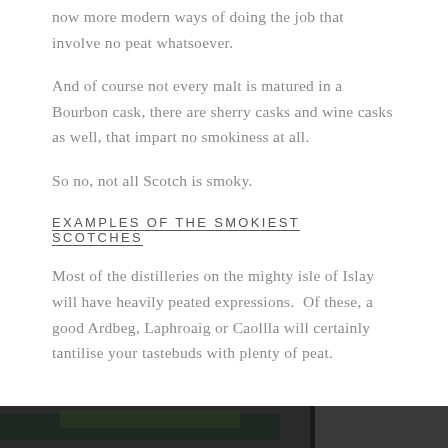now more modern ways of doing the job that involve no peat whatsoever.
And of course not every malt is matured in a Bourbon cask, there are sherry casks and wine casks as well, that impart no smokiness at all.
So no, not all Scotch is smoky.
EXAMPLES OF THE SMOKIEST SCOTCHES
Most of the distilleries on the mighty isle of Islay will have heavily peated expressions.  Of these, a good Ardbeg, Laphroaig or Caollla will certainly tantilise your tastebuds with plenty of peat.
[Figure (photo): A dark/outdoor scene at the bottom of the page, partially visible]